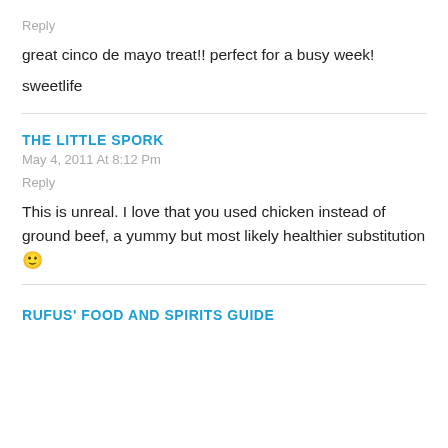Reply
great cinco de mayo treat!! perfect for a busy week!
sweetlife
THE LITTLE SPORK
May 4, 2011 At 8:12 Pm
Reply
This is unreal. I love that you used chicken instead of ground beef, a yummy but most likely healthier substitution 🙂
RUFUS' FOOD AND SPIRITS GUIDE